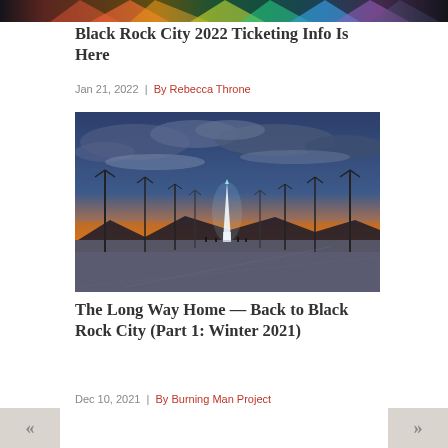[Figure (photo): Colorful light display banner strip at the top of the page]
Black Rock City 2022 Ticketing Info Is Here
Jan 21, 2022  |  By Rebecca Throne
[Figure (photo): Burning Man scene at sunset showing a lit temple/structure in the center with tall lamp posts on either side, orange and blue sky, mountains in the background, people silhouetted in distance on dry playa]
The Long Way Home — Back to Black Rock City (Part 1: Winter 2021)
Dec 10, 2021  |  By Burning Man Project